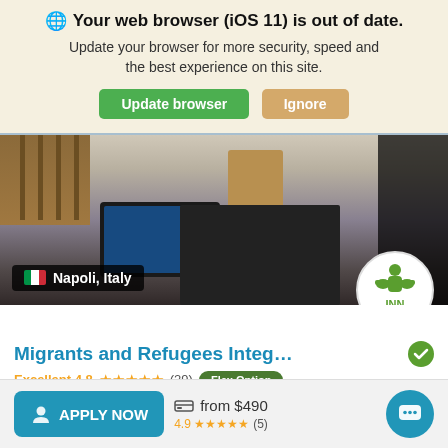🌐 Your web browser (iOS 11) is out of date. Update your browser for more security, speed and the best experience on this site.
Update browser | Ignore
[Figure (photo): Classroom or office scene with laptops and chairs, showing Napoli, Italy location badge and INN organization logo]
Migrants and Refugees Integ… ✔
Excellent 4.8 ★★★★★ (29) Flex Option
$195 per week · 3 – 12 weeks · Age 18+ · WiFi
Airport Taxi   Housing   Food   DETAILS
APPLY NOW   from $490   4.9 ★★★★★ (5)